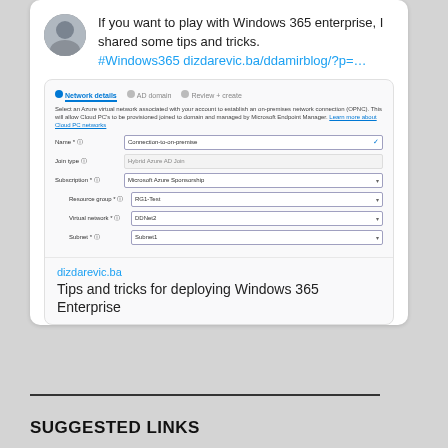If you want to play with Windows 365 enterprise, I shared some tips and tricks. #Windows365 dizdarevic.ba/ddamirblog/?p=…
[Figure (screenshot): Screenshot of Azure/Windows 365 network details configuration form showing fields: Name, Join type, Subscription, Resource group, Virtual network, Subnet with sample values.]
dizdarevic.ba
Tips and tricks for deploying Windows 365 Enterprise
SUGGESTED LINKS